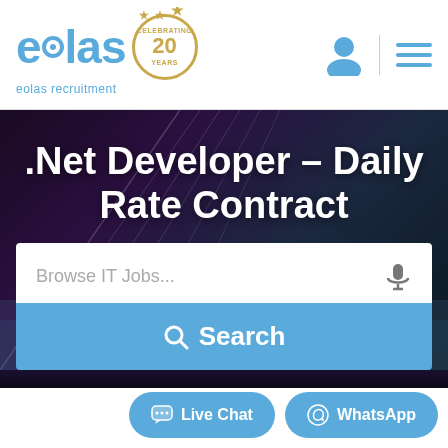[Figure (logo): Eolas Recruitment logo with 20 years celebrating badge, blue text]
.Net Developer – Daily Rate Contract
[Figure (screenshot): Search bar with placeholder 'Browse IT Jobs...' and microphone icon, followed by blue Search button]
Live Chat
WhatsApp